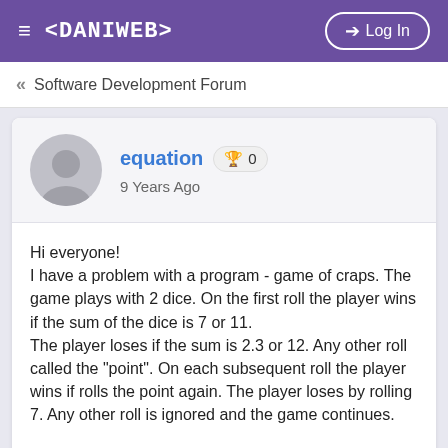≡ <DANIWEB>   ➔ Log In
« Software Development Forum
equation 🏆 0
9 Years Ago
Hi everyone!
I have a problem with a program - game of craps. The game plays with 2 dice. On the first roll the player wins if the sum of the dice is 7 or 11.
The player loses if the sum is 2.3 or 12. Any other roll called the "point". On each subsequent roll the player wins if rolls the point again. The player loses by rolling 7. Any other roll is ignored and the game continues.

At the end of each game the program will ask the player whether or not to play again. When the player enter a